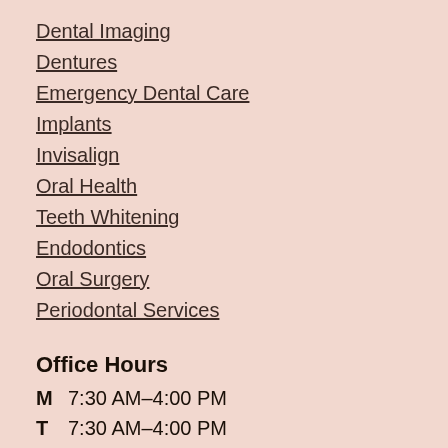Dental Imaging
Dentures
Emergency Dental Care
Implants
Invisalign
Oral Health
Teeth Whitening
Endodontics
Oral Surgery
Periodontal Services
Office Hours
M  7:30 AM–4:00 PM
T  7:30 AM–4:00 PM
W  7:30 AM–4:00 PM
T  7:30 AM–4:00 PM